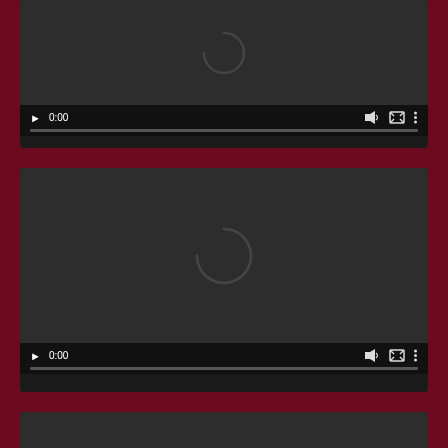[Figure (screenshot): Video player 1 (top, partially cropped): dark gray video area with a circular loading spinner in the center. Controls bar shows play button, 0:00 timestamp, volume icon, fullscreen icon, and options icon. Progress bar at bottom.]
[Figure (screenshot): Video player 2 (middle): dark gray video area with a circular loading spinner in the center. Controls bar shows play button, 0:00 timestamp, volume icon, fullscreen icon, and options icon. Progress bar at bottom.]
[Figure (screenshot): Video player 3 (bottom, partially cropped): dark gray video area with a circular loading spinner beginning to appear at bottom. Partially visible.]